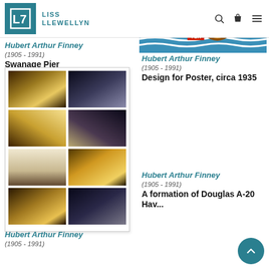[Figure (logo): Liss Llewellyn gallery logo — teal square with L7 icon and text LISS LLEWELLYN]
Hubert Arthur Finney
(1905 - 1991)
Swanage Pier
[Figure (photo): Grid of 8 painting study thumbnails (2 columns, 4 rows) showing corridor/hallway interior studies in warm golden and cool blue tones]
[Figure (photo): Partial top view of Shell poster artwork: blue background with brown circular Shell logo element and wave pattern]
Hubert Arthur Finney
(1905 - 1991)
Design for Poster, circa 1935
[Figure (photo): Painting of aircraft formation in cloudy sky with ON LOAN diagonal badge in teal]
Hubert Arthur Finney
(1905 - 1991)
A formation of Douglas A-20 Hav...
Hubert Arthur Finney
(1905 - 1991)